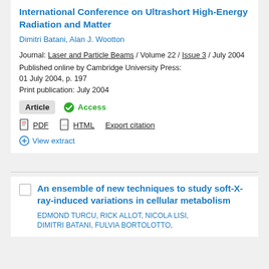International Conference on Ultrashort High-Energy Radiation and Matter
Dimitri Batani, Alan J. Wootton
Journal: Laser and Particle Beams / Volume 22 / Issue 3 / July 2004
Published online by Cambridge University Press: 01 July 2004, p. 197
Print publication: July 2004
Article   Access
PDF   HTML   Export citation
View extract
An ensemble of new techniques to study soft-X-ray-induced variations in cellular metabolism
EDMOND TURCU, RICK ALLOT, NICOLA LISI, DIMITRI BATANI, FULVIA BORTOLOTTO,